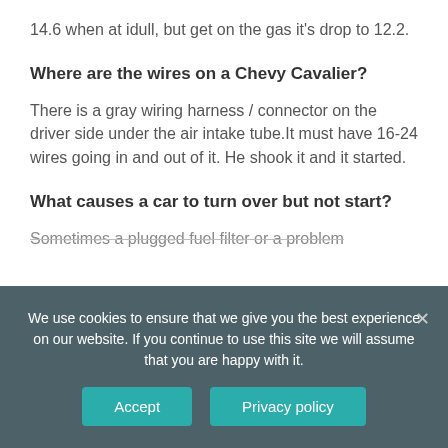14.6 when at idull, but get on the gas it's drop to 12.2.
Where are the wires on a Chevy Cavalier?
There is a gray wiring harness / connector on the driver side under the air intake tube.It must have 16-24 wires going in and out of it. He shook it and it started.
What causes a car to turn over but not start?
Sometimes a plugged fuel filter or a problem
We use cookies to ensure that we give you the best experience on our website. If you continue to use this site we will assume that you are happy with it.